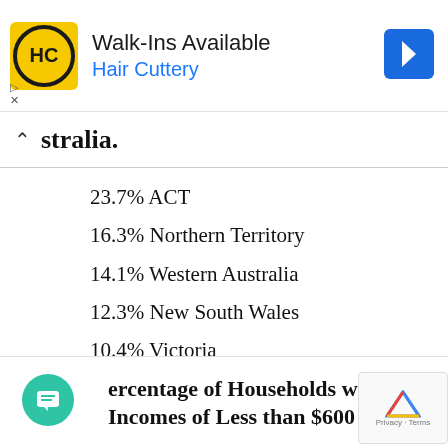[Figure (other): Hair Cuttery advertisement banner with yellow HC logo, 'Walk-ins Available' text, and navigation arrow icon]
stralia.
23.7% ACT
16.3% Northern Territory
14.1% Western Australia
12.3% New South Wales
10.4% Victoria
10.2% Queensland
7.3% South Australia
5.4% Tasmania
ercentage of Households with Incomes of Less than $600 per wee